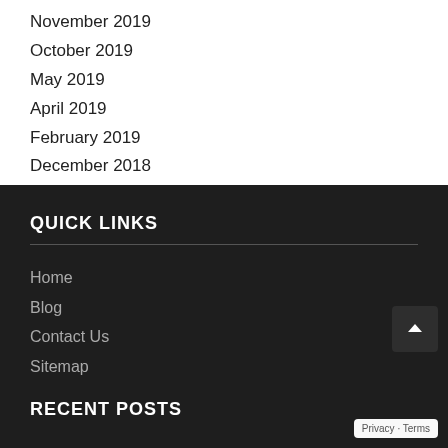November 2019
October 2019
May 2019
April 2019
February 2019
December 2018
QUICK LINKS
Home
Blog
Contact Us
Sitemap
RECENT POSTS